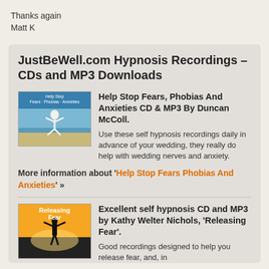Thanks again
Matt K
JustBeWell.com Hypnosis Recordings – CDs and MP3 Downloads
[Figure (photo): Cover of 'Help Stop Fears Phobias Anxieties' CD showing a woman jumping on a beach]
Help Stop Fears, Phobias And Anxieties CD & MP3 By Duncan McColl.

Use these self hypnosis recordings daily in advance of your wedding, they really do help with wedding nerves and anxiety.
More information about 'Help Stop Fears Phobias And Anxieties' »
[Figure (photo): Cover of 'Releasing Fear' CD/MP3 showing person with arms spread in yellow/orange light]
Excellent self hypnosis CD and MP3 by Kathy Welter Nichols, 'Releasing Fear'.

Good recordings designed to help you release fear, and, in